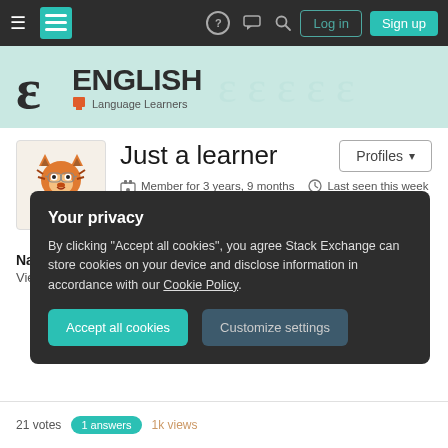English Language Learners - Stack Exchange navigation bar with Log in and Sign up buttons
[Figure (screenshot): English Language Learners Stack Exchange site header with logo]
Just a learner
Member for 3 years, 9 months  Last seen this week
Profile  Activity
Navigation
View all activity pages
Your privacy
By clicking "Accept all cookies", you agree Stack Exchange can store cookies on your device and disclose information in accordance with our Cookie Policy.
Accept all cookies  Customize settings